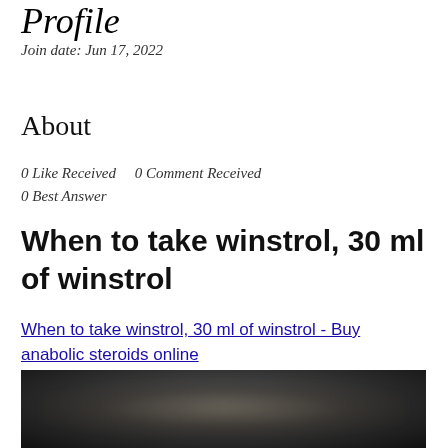Profile
Join date: Jun 17, 2022
About
0 Like Received    0 Comment Received
0 Best Answer
When to take winstrol, 30 ml of winstrol
When to take winstrol, 30 ml of winstrol - Buy anabolic steroids online
[Figure (photo): Blurred dark photograph, partially visible at bottom of page]